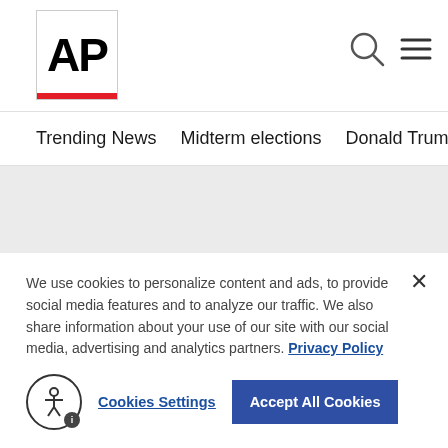AP
Trending News  Midterm elections  Donald Trump  Russia-Ukr
[Figure (screenshot): Partially visible news article image in background with text overlay mentioning Pence]
We use cookies to personalize content and ads, to provide social media features and to analyze our traffic. We also share information about your use of our site with our social media, advertising and analytics partners. Privacy Policy
Cookies Settings    Accept All Cookies